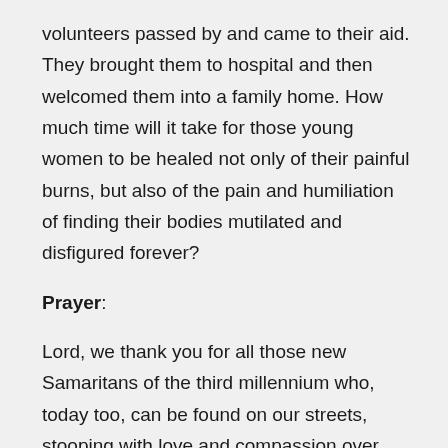volunteers passed by and came to their aid. They brought them to hospital and then welcomed them into a family home. How much time will it take for those young women to be healed not only of their painful burns, but also of the pain and humiliation of finding their bodies mutilated and disfigured forever?
Prayer:
Lord, we thank you for all those new Samaritans of the third millennium who, today too, can be found on our streets, stooping with love and compassion over the many physical and spiritual wounds of those who live every night in fear and the terror of